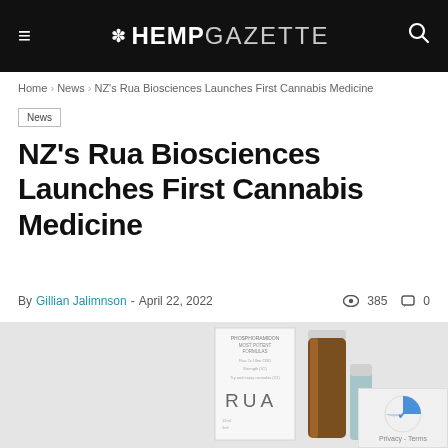☰ ✿HEMPGAZETTE 🔍
Home › News › NZ's Rua Biosciences Launches First Cannabis Medicine
News
NZ's Rua Biosciences Launches First Cannabis Medicine
By Gillian Jalimnson - April 22, 2022  👁 385  💬 0
[Figure (photo): Product photo showing a white RUA branded box and a brown amber glass dropper bottle against a light grey background]